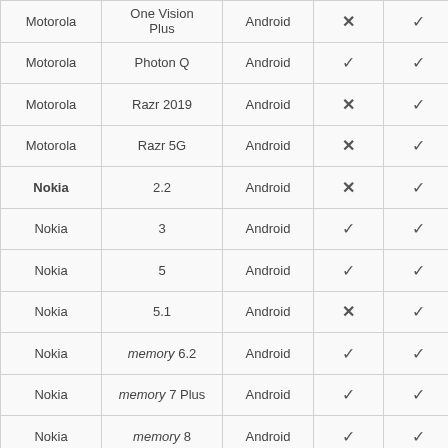| Brand | Model | OS | Col4 | Col5 |
| --- | --- | --- | --- | --- |
| Motorola | One Vision Plus | Android | ✗ | ✓ |
| Motorola | Photon Q | Android | ✓ | ✓ |
| Motorola | Razr 2019 | Android | ✗ | ✓ |
| Motorola | Razr 5G | Android | ✗ | ✓ |
| Nokia | 2.2 | Android | ✗ | ✓ |
| Nokia | 3 | Android | ✓ | ✓ |
| Nokia | 5 | Android | ✓ | ✓ |
| Nokia | 5.1 | Android | ✗ | ✓ |
| Nokia | memory 6.2 | Android | ✓ | ✓ |
| Nokia | memory 7 Plus | Android | ✓ | ✓ |
| Nokia | memory 8 | Android | ✓ | ✓ |